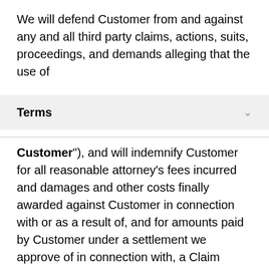We will defend Customer from and against any and all third party claims, actions, suits, proceedings, and demands alleging that the use of
Terms
Customer”), and will indemnify Customer for all reasonable attorney’s fees incurred and damages and other costs finally awarded against Customer in connection with or as a result of, and for amounts paid by Customer under a settlement we approve of in connection with, a Claim Against Customer; provided, however, that we will have no liability if a Claim Against Customer arises from (a) Customer Data or Non-Slack Products; and (b) any modification, combination or development of the Services that is not performed